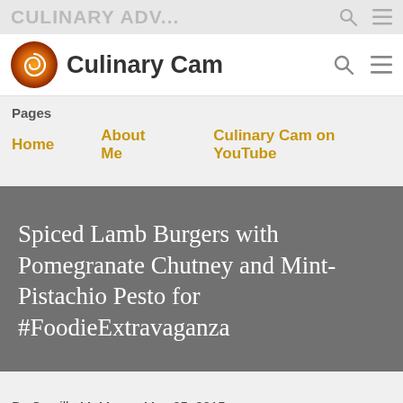CULINARY ADV...
Culinary Cam
Pages
Home   About Me   Culinary Cam on YouTube
Spiced Lamb Burgers with Pomegranate Chutney and Mint-Pistachio Pesto for #FoodieExtravaganza
By Camilla M. Mann · May 05, 2015